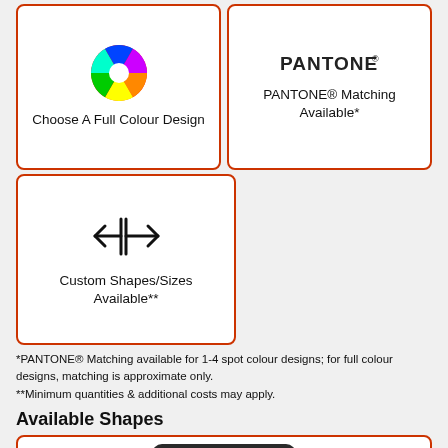[Figure (illustration): Card with a full colour wheel/spectrum circle icon and text 'Choose A Full Colour Design']
[Figure (logo): Card with PANTONE® logotype and text 'PANTONE® Matching Available*']
[Figure (illustration): Card with a horizontal resize/split icon (left-right arrows with vertical bar) and text 'Custom Shapes/Sizes Available**']
*PANTONE® Matching available for 1-4 spot colour designs; for full colour designs, matching is approximate only.
**Minimum quantities & additional costs may apply.
Available Shapes
[Figure (illustration): Bottom card showing a dark rounded rectangle shape (partially visible)]